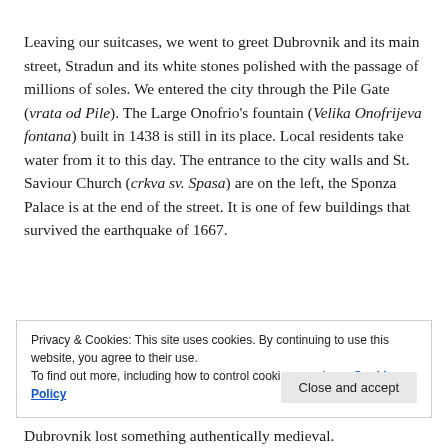Leaving our suitcases, we went to greet Dubrovnik and its main street, Stradun and its white stones polished with the passage of millions of soles. We entered the city through the Pile Gate (vrata od Pile). The Large Onofrio's fountain (Velika Onofrijeva fontana) built in 1438 is still in its place. Local residents take water from it to this day. The entrance to the city walls and St. Saviour Church (crkva sv. Spasa) are on the left, the Sponza Palace is at the end of the street. It is one of few buildings that survived the earthquake of 1667.
Privacy & Cookies: This site uses cookies. By continuing to use this website, you agree to their use. To find out more, including how to control cookies, see here: Cookie Policy
Dubrovnik lost something authentically medieval.